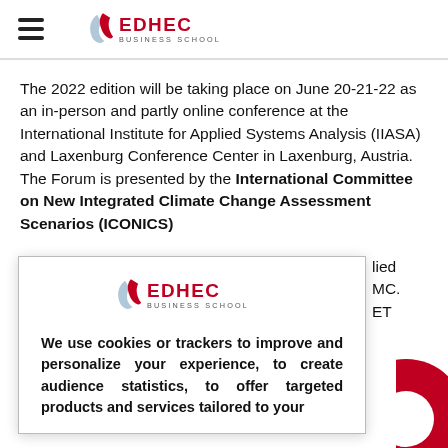EDHEC BUSINESS SCHOOL
The 2022 edition will be taking place on June 20-21-22 as an in-person and partly online conference at the International Institute for Applied Systems Analysis (IIASA) and Laxenburg Conference Center in Laxenburg, Austria. The Forum is presented by the International Committee on New Integrated Climate Change Assessment Scenarios (ICONICS)
[Figure (logo): EDHEC Business School logo inside cookie consent modal]
We use cookies or trackers to improve and personalize your experience, to create audience statistics, to offer targeted products and services tailored to your